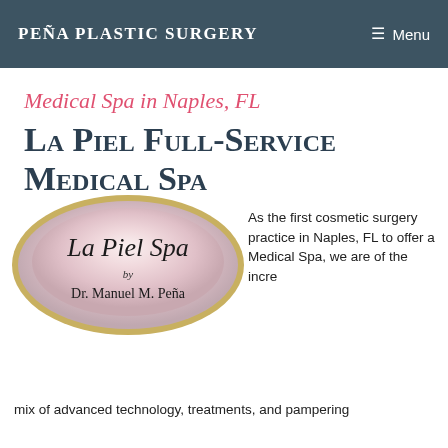Peña Plastic Surgery  ≡ Menu
Medical Spa in Naples, FL
La Piel Full-Service Medical Spa
[Figure (logo): Oval logo for La Piel Spa by Dr. Manuel M. Peña, with pink-to-white gradient, gold border, and cursive/serif text.]
As the first cosmetic surgery practice in Naples, FL to offer a Medical Spa, we are of the incre… mix of advanced technology, treatments, and pampering